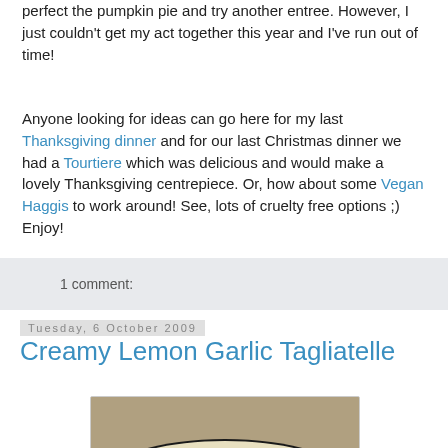perfect the pumpkin pie and try another entree. However, I just couldn't get my act together this year and I've run out of time!
Anyone looking for ideas can go here for my last Thanksgiving dinner and for our last Christmas dinner we had a Tourtiere which was delicious and would make a lovely Thanksgiving centrepiece. Or, how about some Vegan Haggis to work around! See, lots of cruelty free options ;) Enjoy!
1 comment:
Tuesday, 6 October 2009
Creamy Lemon Garlic Tagliatelle
[Figure (photo): Photo of creamy lemon garlic tagliatelle pasta dish on a dark plate, viewed from above at an angle, showing pale cream-colored pasta with black pepper.]